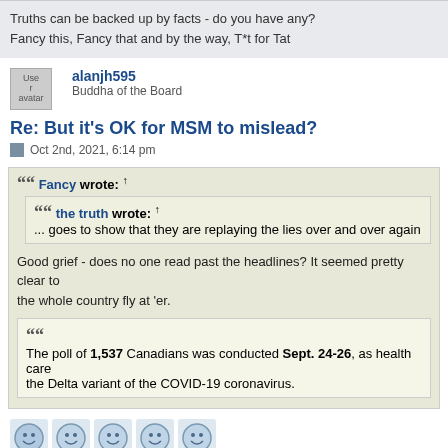Truths can be backed up by facts - do you have any?
Fancy this, Fancy that and by the way, T*t for Tat
alanjh595
Buddha of the Board
Re: But it's OK for MSM to mislead?
Oct 2nd, 2021, 6:14 pm
Fancy wrote: ↑
the truth wrote: ↑
... goes to show that they are replaying the lies over and over again
Good grief - does no one read past the headlines? It seemed pretty clear to the whole country fly at 'er.
The poll of 1,537 Canadians was conducted Sept. 24-26, as health care the Delta variant of the COVID-19 coronavirus.
[Figure (other): Row of five emoji reaction icons (thumbs up style)]